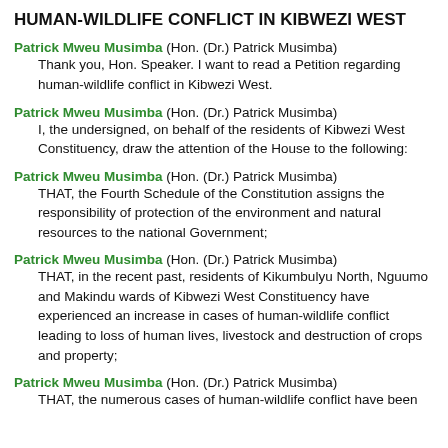HUMAN-WILDLIFE CONFLICT IN KIBWEZI WEST
Patrick Mweu Musimba (Hon. (Dr.) Patrick Musimba)
Thank you, Hon. Speaker. I want to read a Petition regarding human-wildlife conflict in Kibwezi West.
Patrick Mweu Musimba (Hon. (Dr.) Patrick Musimba)
I, the undersigned, on behalf of the residents of Kibwezi West Constituency, draw the attention of the House to the following:
Patrick Mweu Musimba (Hon. (Dr.) Patrick Musimba)
THAT, the Fourth Schedule of the Constitution assigns the responsibility of protection of the environment and natural resources to the national Government;
Patrick Mweu Musimba (Hon. (Dr.) Patrick Musimba)
THAT, in the recent past, residents of Kikumbulyu North, Nguumo and Makindu wards of Kibwezi West Constituency have experienced an increase in cases of human-wildlife conflict leading to loss of human lives, livestock and destruction of crops and property;
Patrick Mweu Musimba (Hon. (Dr.) Patrick Musimba)
THAT, the numerous cases of human-wildlife conflict have been